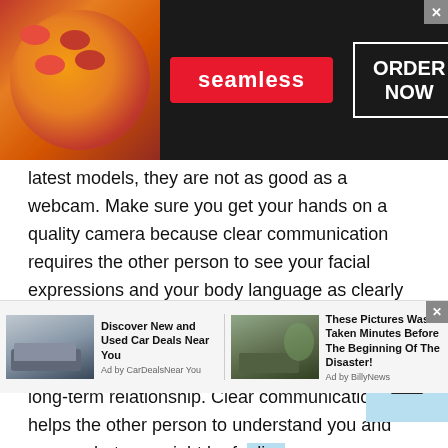[Figure (other): Seamless food delivery advertisement banner with pizza image on left, Seamless logo in center, and ORDER NOW button on right with X close button]
latest models, they are not as good as a webcam. Make sure you get your hands on a quality camera because clear communication requires the other person to see your facial expressions and your body language as clearly as possible.
Plus, seeing your gestures with clarity, and your body language is going to help you establish a long-term relationship. Clear communication helps the other person to understand you and guess what you might be feeling. Help the other person to get to know you better with an
[Figure (other): Bottom advertisement bar with two ads: 'Discover New and Used Car Deals Near You' by CarDealsNear You, and 'These Pictures Was Taken Minutes Before The Beginning Of The Disaster!' by BillyNews]